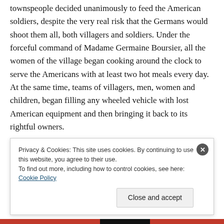townspeople decided unanimously to feed the American soldiers, despite the very real risk that the Germans would shoot them all, both villagers and soldiers. Under the forceful command of Madame Germaine Boursier, all the women of the village began cooking around the clock to serve the Americans with at least two hot meals every day. At the same time, teams of villagers, men, women and children, began filling any wheeled vehicle with lost American equipment and then bringing it back to its rightful owners.
Militarily, though, the situation was hopeless. The 507th
Privacy & Cookies: This site uses cookies. By continuing to use this website, you agree to their use.
To find out more, including how to control cookies, see here: Cookie Policy